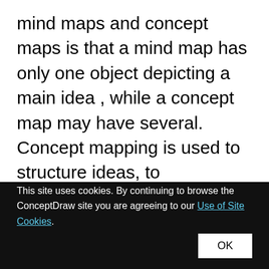mind maps and concept maps is that a mind map has only one object depicting a main idea , while a concept map may have several. Concept mapping is used to structure ideas, to communicate complex system of knowledge, to help learning process, etc. ConceptDraw PRO allows you to draw concept maps using the Concept Map solution.
This site uses cookies. By continuing to browse the ConceptDraw site you are agreeing to our Use of Site Cookies. OK